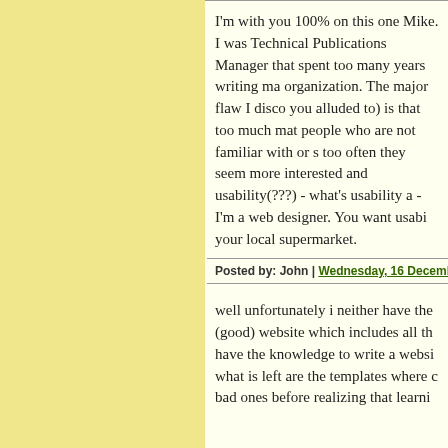I'm with you 100% on this one Mike. I was Technical Publications Manager that spent too many years writing manuals for organization. The major flaw I discovered (as you alluded to) is that too much material is for people who are not familiar with or skilled and too often they seem more interested and usability(???) - what's usability a - I'm a web designer. You want usability your local supermarket.
Posted by: John | Wednesday, 16 December 2009 at 07
well unfortunately i neither have the (good) website which includes all the have the knowledge to write a website what is left are the templates where bad ones before realizing that learning